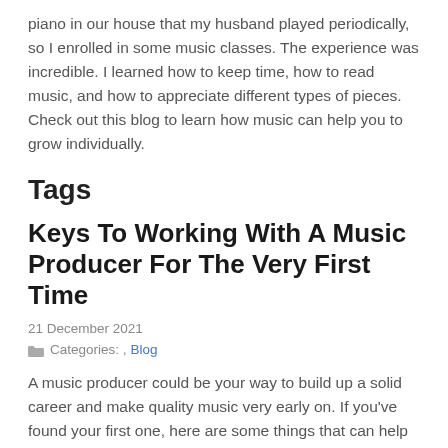piano in our house that my husband played periodically, so I enrolled in some music classes. The experience was incredible. I learned how to keep time, how to read music, and how to appreciate different types of pieces. Check out this blog to learn how music can help you to grow individually.
Tags
Keys To Working With A Music Producer For The Very First Time
21 December 2021
Categories: , Blog
A music producer could be your way to build up a solid career and make quality music very early on. If you've found your first one, here are some things that can help this relationship blossom in productive, healthy ways. Already Have a Plan for Your Music Career The more direction you have early on in your music career, the easiest it will be to go down particular lanes. You want to have this vision and goals